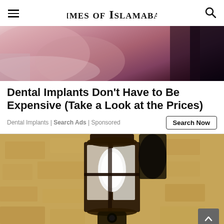Times of Islamabad
[Figure (photo): Close-up of skin texture with pinkish-purple tones, partial view of a face or body area]
Dental Implants Don't Have to Be Expensive (Take a Look at the Prices)
Dental Implants | Search Ads | Sponsored
[Figure (photo): Outdoor wall-mounted lantern light fixture on a textured stone wall, with a camera device attached below the lantern, scroll-to-top button visible in lower right]